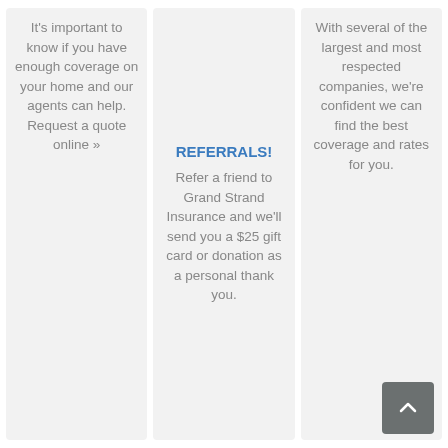It's important to know if you have enough coverage on your home and our agents can help. Request a quote online »
REFERRALS!
Refer a friend to Grand Strand Insurance and we'll send you a $25 gift card or donation as a personal thank you.
With several of the largest and most respected companies, we're confident we can find the best coverage and rates for you.